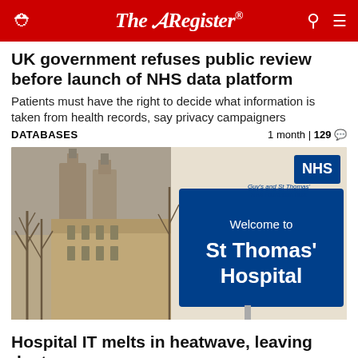The Register
UK government refuses public review before launch of NHS data platform
Patients must have the right to decide what information is taken from health records, say privacy campaigners
DATABASES   1 month | 129
[Figure (photo): Photo of St Thomas' Hospital NHS sign with Welcome to St Thomas' Hospital text on a blue sign, with the tower of the Palace of Westminster visible in the background. NHS and Guy's and St Thomas' NHS Foundation Trust logo in top right.]
Hospital IT melts in heatwave, leaving doctors